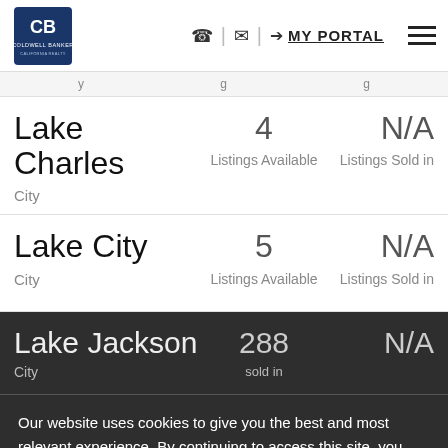Coldwell Banker | Phone | Email | MY PORTAL | Menu
Lake Charles | City | 4 Listings Available | N/A Listings Sold in
Lake City | City | 5 Listings Available | N/A Listings Sold in
Lake Jackson | City | 288 | N/A Listings Sold in
Lake Victor | City | Listings Available | N/A
Our website uses cookies to give you the best and most relevant experience. By continuing to access this site, you consent to our use of cookies.
I Accept